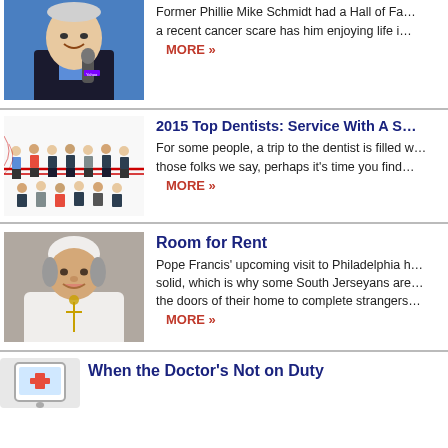[Figure (photo): Man in dark suit holding a microphone against a blue background, cropped at top]
Former Phillie Mike Schmidt had a Hall of Fa... a recent cancer scare has him enjoying life i...
MORE »
2015 Top Dentists: Service With A S...
[Figure (photo): Group of people standing in professional attire, arranged in rows]
For some people, a trip to the dentist is filled w... those folks we say, perhaps it's time you find ...
MORE »
Room for Rent
[Figure (photo): Pope Francis smiling, wearing white papal vestments]
Pope Francis' upcoming visit to Philadelphia h... solid, which is why some South Jerseyans are... the doors of their home to complete strangers...
MORE »
When the Doctor's Not on Duty
[Figure (illustration): Small icon illustration at bottom left]